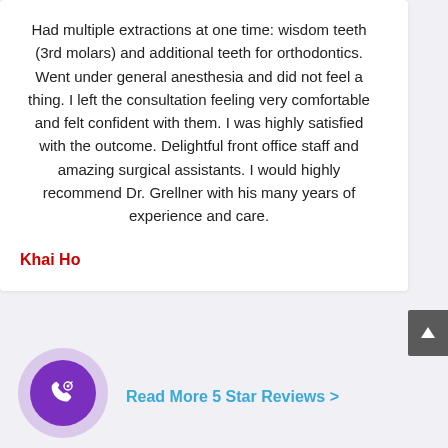Had multiple extractions at one time: wisdom teeth (3rd molars) and additional teeth for orthodontics. Went under general anesthesia and did not feel a thing. I left the consultation feeling very comfortable and felt confident with them. I was highly satisfied with the outcome. Delightful front office staff and amazing surgical assistants. I would highly recommend Dr. Grellner with his many years of experience and care.
Khai Ho
Read More 5 Star Reviews >